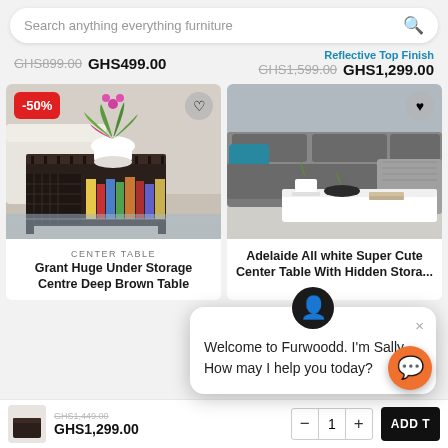Search anything everything furniture
GHS899.00  GHS499.00
Reflective Top Finish
GHS1,599.00  GHS1,299.00
[Figure (photo): Dark brown crate-style coffee table with open shelf storage holding books, and a white planter with plant on top. -50% discount badge shown.]
[Figure (photo): Grey sofa set with teal cushions and a white center table with plants on top.]
CENTER TABLE
Grant Huge Under Storage Centre Deep Brown Table
Adelaide All white Super Cute Center Table With Hidden Stora...
Welcome to Furwoodd. I'm Sally.
How may I help you today?
GHS1,449.00  GHS1,299.00
1
ADD T...